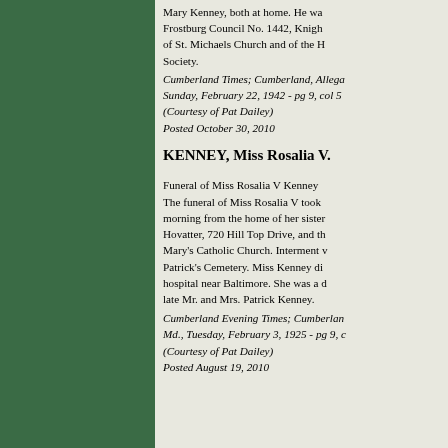Mary Kenney, both at home. He was a member of Frostburg Council No. 1442, Knights of Columbus, of St. Michaels Church and of the H. Society.
Cumberland Times; Cumberland, Allegany County, Sunday, February 22, 1942 - pg 9, col 5 (Courtesy of Pat Dailey) Posted October 30, 2010
KENNEY, Miss Rosalia V.
Funeral of Miss Rosalia V Kenney The funeral of Miss Rosalia V took place this morning from the home of her sister, Mrs. Hovatter, 720 Hill Top Drive, and thence to St. Mary's Catholic Church. Interment was in St. Patrick's Cemetery. Miss Kenney died at a hospital near Baltimore. She was a daughter of the late Mr. and Mrs. Patrick Kenney.
Cumberland Evening Times; Cumberland, Md., Tuesday, February 3, 1925 - pg 9, c (Courtesy of Pat Dailey) Posted August 19, 2010